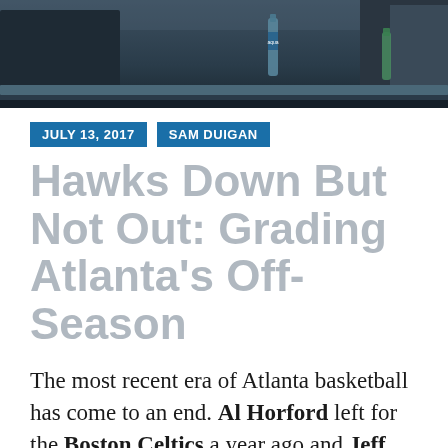[Figure (photo): Partial photo of people seated at what appears to be a sports arena, with water bottles visible on a surface in the foreground. Dark blue/gray background.]
JULY 13, 2017   SAM DUIGAN
Hawks Down But Not Out: Grading Atlanta's Off-Season
The most recent era of Atlanta basketball has come to an end. Al Horford left for the Boston Celtics a year ago and Jeff Teague was traded to the Indiana Pacers. Kyle Korver was moved on to the Cleveland